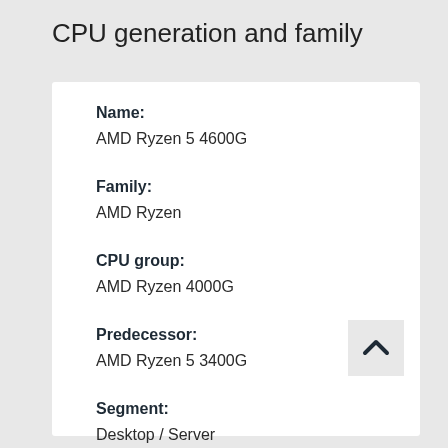CPU generation and family
Name:
AMD Ryzen 5 4600G
Family:
AMD Ryzen
CPU group:
AMD Ryzen 4000G
Predecessor:
AMD Ryzen 5 3400G
Segment:
Desktop / Server